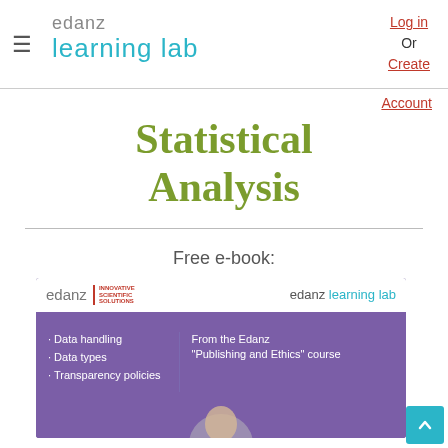edanz learning lab — Log in Or Create
Account
Statistical Analysis
Free e-book:
[Figure (illustration): Edanz Learning Lab e-book cover preview showing logos, bullet list items (Data handling, Data types, Transparency policies) and description text: From the Edanz Publishing and Ethics course, with a partial image of a person at the bottom.]